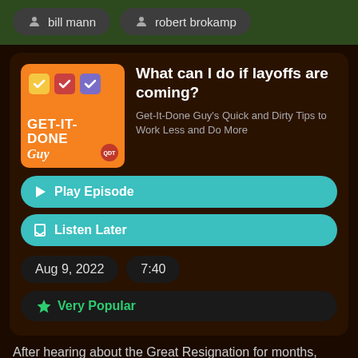bill mann   robert brokamp
What can I do if layoffs are coming?
Get-It-Done Guy's Quick and Dirty Tips to Work Less and Do More
Play Episode
Listen Later
Aug 9, 2022   7:40
Very Popular
After hearing about the Great Resignation for months, we're starting to see signs of a possible recession…